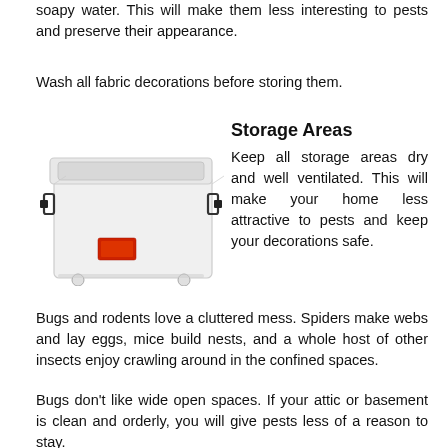soapy water. This will make them less interesting to pests and preserve their appearance.
Wash all fabric decorations before storing them.
[Figure (photo): A clear plastic storage container with a lid and black latching handles, with a small red label on the front.]
Storage Areas
Keep all storage areas dry and well ventilated. This will make your home less attractive to pests and keep your decorations safe.
Bugs and rodents love a cluttered mess. Spiders make webs and lay eggs, mice build nests, and a whole host of other insects enjoy crawling around in the confined spaces.
Bugs don't like wide open spaces. If your attic or basement is clean and orderly, you will give pests less of a reason to stay.